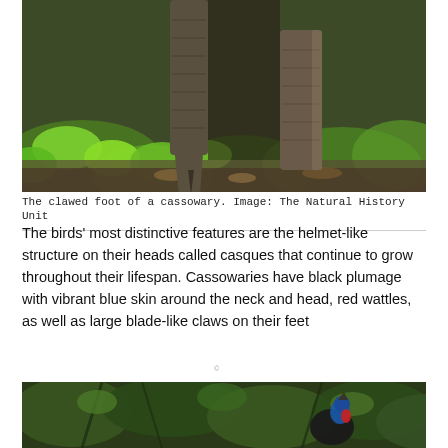[Figure (photo): Close-up photo of the clawed foot of a cassowary bird, showing a large sharp claw, with blurred green foliage in the background and rocky/leaf-covered ground.]
The clawed foot of a cassowary. Image: The Natural History Unit
The birds' most distinctive features are the helmet-like structure on their heads called casques that continue to grow throughout their lifespan. Cassowaries have black plumage with vibrant blue skin around the neck and head, red wattles, as well as large blade-like claws on their feet
[Figure (photo): Partial photo showing a cassowary bird in dense green jungle/forest vegetation, with distinctive blue and red head visible among the foliage.]